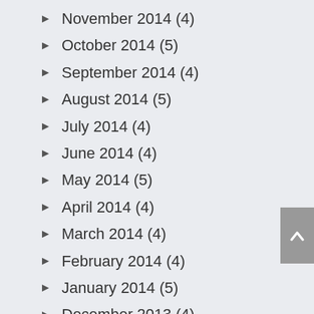November 2014 (4)
October 2014 (5)
September 2014 (4)
August 2014 (5)
July 2014 (4)
June 2014 (4)
May 2014 (5)
April 2014 (4)
March 2014 (4)
February 2014 (4)
January 2014 (5)
December 2013 (4)
November 2013 (4)